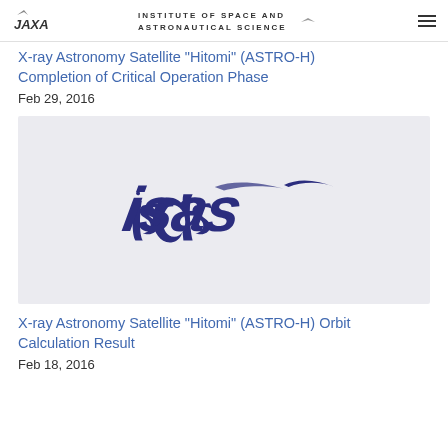JAXA — INSTITUTE OF SPACE AND ASTRONAUTICAL SCIENCE
X-ray Astronomy Satellite "Hitomi" (ASTRO-H) Completion of Critical Operation Phase
Feb 29, 2016
[Figure (logo): ISAS (Institute of Space and Astronautical Science) logo — stylized italic cursive text reading 'isas' in dark navy blue on a light lavender/grey background]
X-ray Astronomy Satellite "Hitomi" (ASTRO-H) Orbit Calculation Result
Feb 18, 2016